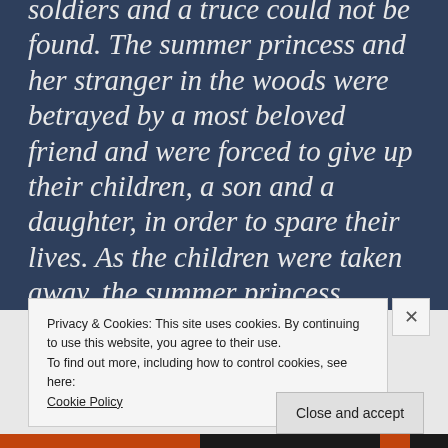soldiers and a truce could not be found. The summer princess and her stranger in the woods were betrayed by a most beloved friend and were forced to give up their children, a son and a daughter, in order to spare their lives. As the children were taken away, the summer princess sacrificed her life so that her children would have a chance. A great fire was set
Privacy & Cookies: This site uses cookies. By continuing to use this website, you agree to their use.
To find out more, including how to control cookies, see here:
Cookie Policy
Close and accept